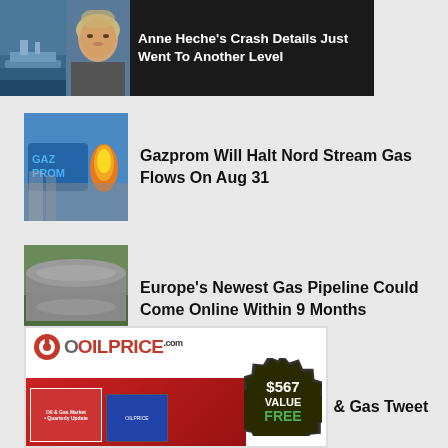[Figure (photo): Dark banner with thumbnail of Anne Heche and a ship/harbor scene]
Anne Heche's Crash Details Just Went To Another Level
[Figure (photo): Gazprom logo with orange flame]
Gazprom Will Halt Nord Stream Gas Flows On Aug 31
[Figure (photo): Gas pipeline pipes stacked outdoors]
Europe's Newest Gas Pipeline Could Come Online Within 9 Months
[Figure (photo): Elon Musk speaking against purple background]
Musk Goes Viral With Oil & Gas Tweet
[Figure (infographic): OilPrice.com advertisement with $567 Value Free badge and product images]